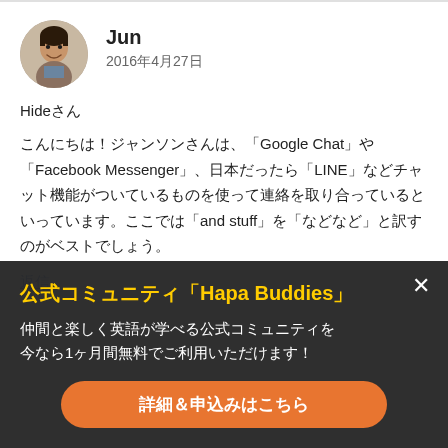[Figure (photo): Circular avatar photo of a man named Jun, smiling]
Jun
2016年4月27日
Hideさん
こんにちは！ジャンソンさんは、「Google Chat」や「Facebook Messenger」、日本だったら「LINE」などチャット機能がついているものを使って連絡を取り合っているといっています。ここでは「and stuff」を「などなど」と訳すのがベストでしょう。
返信
公式コミュニティ「Hapa Buddies」
仲間と楽しく英語が学べる公式コミュニティを今なら1ヶ月間無料でご利用いただけます！
詳細＆申込みはこちら